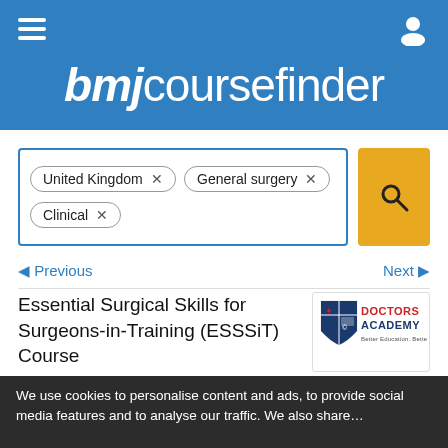bmjcoursefinder
United Kingdom ×   General surgery ×   Clinical ×
◄ Previous   Next ►
Essential Surgical Skills for Surgeons-in-Training (ESSSiT) Course
Provided by Doctors Academy
[Figure (logo): Doctors Academy logo — shield crest with red bird, blue background, text DOCTORS ACADEMY, Better Education. Better Health.]
We use cookies to personalise content and ads, to provide social media features and to analyse our traffic. We also share…